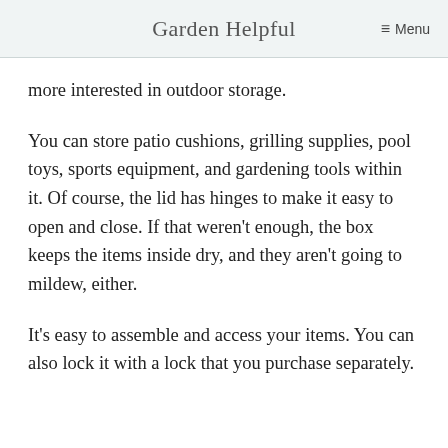Garden Helpful   ☰ Menu
more interested in outdoor storage.
You can store patio cushions, grilling supplies, pool toys, sports equipment, and gardening tools within it. Of course, the lid has hinges to make it easy to open and close. If that weren't enough, the box keeps the items inside dry, and they aren't going to mildew, either.
It's easy to assemble and access your items. You can also lock it with a lock that you purchase separately.